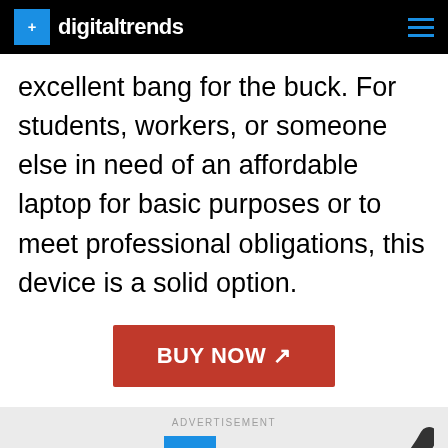digitaltrends
excellent bang for the buck. For students, workers, or someone else in need of an affordable laptop for basic purposes or to meet professional obligations, this device is a solid option.
[Figure (other): BUY NOW button with arrow icon, red background, white bold text]
[Figure (other): Advertisement section with Digital Trends logo and partial arc graphic on light gray background]